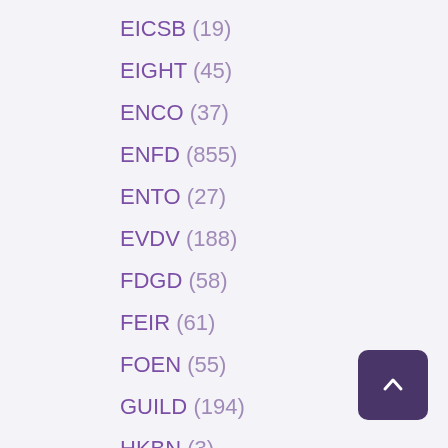EICSB (19)
EIGHT (45)
ENCO (37)
ENFD (855)
ENTO (27)
EVDV (188)
FDGD (58)
FEIR (61)
FOEN (55)
GUILD (194)
HKBN (3)
ICDV (206)
IMBD (700)
JENF (2)